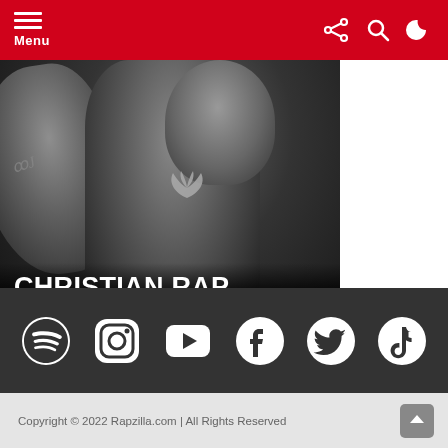Menu
[Figure (photo): Black and white photo of muscular athletes in a gym, with overlay text 'CHRISTIAN RAP WORKOUT SONGS — CLICK HERE TO LISTEN NOW']
[Figure (infographic): Social media icon bar with Spotify, Instagram, YouTube, Facebook, Twitter/X, and TikTok icons on a dark grey background]
Copyright © 2022 Rapzilla.com | All Rights Reserved